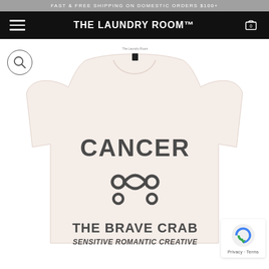FAST & FREE SHIPPING ON DOMESTIC ORDERS $100+
THE LAUNDRY ROOM™
[Figure (photo): White/cream long-sleeve sweatshirt with Cancer zodiac text and symbol printed in charcoal gray. Text reads: CANCER, Cancer symbol (♋), THE BRAVE CRAB, SENSITIVE ROMANTIC CREATIVE]
Privacy · Terms